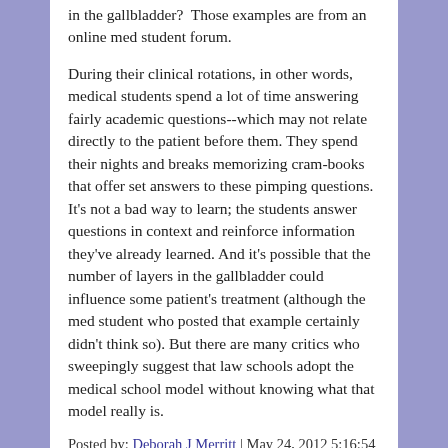in the gallbladder? Those examples are from an online med student forum.
During their clinical rotations, in other words, medical students spend a lot of time answering fairly academic questions--which may not relate directly to the patient before them. They spend their nights and breaks memorizing cram-books that offer set answers to these pimping questions. It's not a bad way to learn; the students answer questions in context and reinforce information they've already learned. And it's possible that the number of layers in the gallbladder could influence some patient's treatment (although the med student who posted that example certainly didn't think so). But there are many critics who sweepingly suggest that law schools adopt the medical school model without knowing what that model really is.
Posted by: Deborah J Merritt | May 24, 2012 5:16:54 PM
Finally, apologies for the typo - that should have been "would be comprised of experienced practitioners".